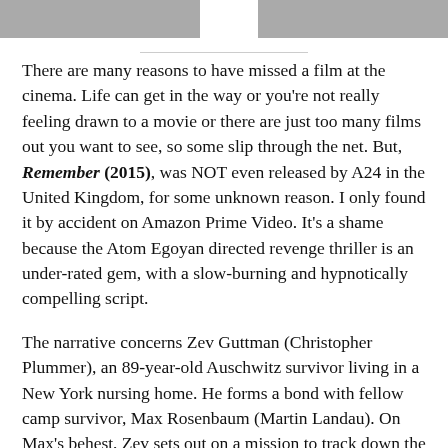[Figure (photo): Two cropped photo strips at the top of the page, separated by a white gap, showing partial images of people.]
There are many reasons to have missed a film at the cinema. Life can get in the way or you're not really feeling drawn to a movie or there are just too many films out you want to see, so some slip through the net. But, Remember (2015), was NOT even released by A24 in the United Kingdom, for some unknown reason. I only found it by accident on Amazon Prime Video. It's a shame because the Atom Egoyan directed revenge thriller is an under-rated gem, with a slow-burning and hypnotically compelling script.
The narrative concerns Zev Guttman (Christopher Plummer), an 89-year-old Auschwitz survivor living in a New York nursing home. He forms a bond with fellow camp survivor, Max Rosenbaum (Martin Landau). On Max's behest, Zev sets out on a mission to track down the concentration camp Nazis who killed their respective families. Suffering from dementia,